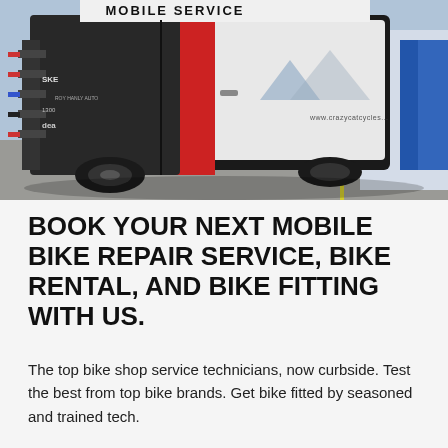[Figure (photo): A mobile bike service van with bike racks on the rear, loaded with bikes and gear. The white and black van has 'MOBILE SERVICE' text and a website URL visible. Parked in a lot.]
BOOK YOUR NEXT MOBILE BIKE REPAIR SERVICE, BIKE RENTAL, AND BIKE FITTING WITH US.
The top bike shop service technicians, now curbside. Test the best from top bike brands. Get bike fitted by seasoned and trained tech.